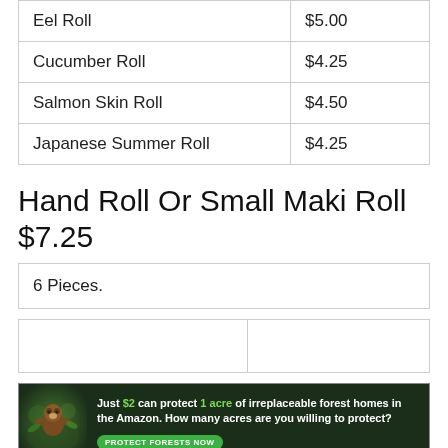| Item | Price |
| --- | --- |
| Eel Roll | $5.00 |
| Cucumber Roll | $4.25 |
| Salmon Skin Roll | $4.50 |
| Japanese Summer Roll | $4.25 |
Hand Roll Or Small Maki Roll $7.25
| 6 Pieces. |
[Figure (other): Advertisement banner: dark forest background with animal image on left. Text reads 'Just $2 can protect 1 acre of irreplaceable forest homes in the Amazon. How many acres are you willing to protect?' with a green 'PROTECT FORESTS NOW' button.]